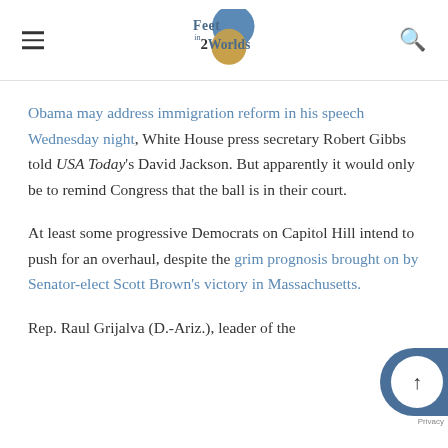Feet in 2 Worlds
Obama may address immigration reform in his speech Wednesday night, White House press secretary Robert Gibbs told USA Today's David Jackson. But apparently it would only be to remind Congress that the ball is in their court.
At least some progressive Democrats on Capitol Hill intend to push for an overhaul, despite the grim prognosis brought on by Senator-elect Scott Brown's victory in Massachusetts.
Rep. Raul Grijalva (D.-Ariz.), leader of the